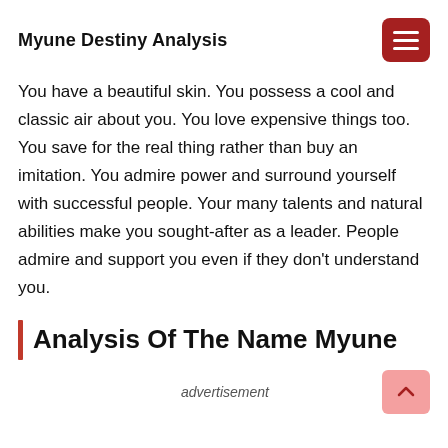Myune Destiny Analysis
You have a beautiful skin. You possess a cool and classic air about you. You love expensive things too. You save for the real thing rather than buy an imitation. You admire power and surround yourself with successful people. Your many talents and natural abilities make you sought-after as a leader. People admire and support you even if they don't understand you.
Analysis Of The Name Myune
advertisement